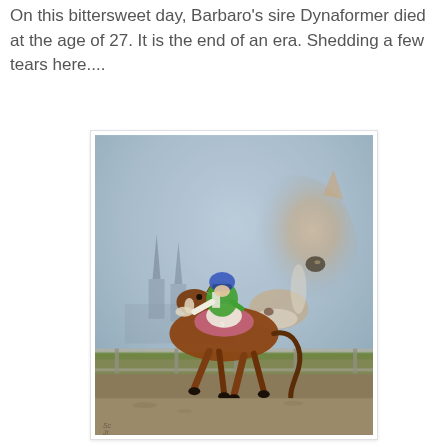On this bittersweet day, Barbaro's sire Dynaformer died at the age of 27. It is the end of an era. Shedding a few tears here....
[Figure (illustration): A painting of a chestnut racehorse with a jockey wearing blue helmet and green/white silks racing on a track, with Churchill Downs visible in the background and a large painted horse head in the mist behind them, evoking a memorial portrait of Barbaro.]